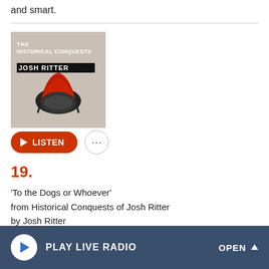and smart.
[Figure (illustration): Album cover for 'The Historical Conquests of Josh Ritter' showing a Roman soldier helmet in red on a beige/tan background with stylized text.]
LISTEN
19.
'To the Dogs or Whoever'
from Historical Conquests of Josh Ritter
by Josh Ritter
The sound of Josh Ritter's most mature album to date was as bold as the title. For Historical Conquests, he tossed his
PLAY LIVE RADIO
OPEN